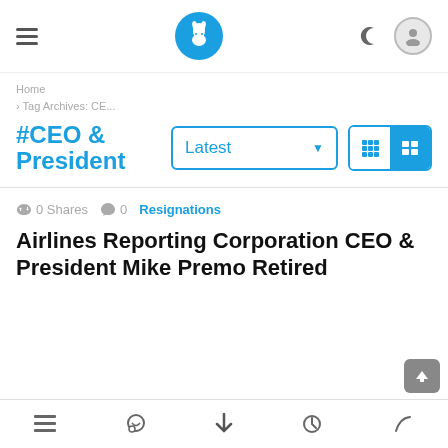Navigation header with hamburger menu, rabbit logo, dark mode toggle, and user icon
Home
› Tag Archives: CE...
#CEO & President
Latest (dropdown), grid/list view toggle
0 Shares  0  Resignations
Airlines Reporting Corporation CEO & President Mike Premo Retired
Bottom navigation bar with icons